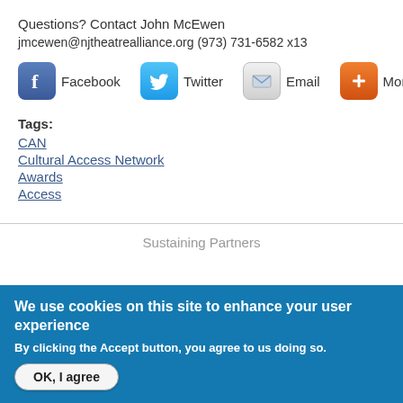Questions? Contact John McEwen
jmcewen@njtheatrealliance.org (973) 731-6582 x13
[Figure (infographic): Social share buttons: Facebook, Twitter, Email, More]
Tags:
CAN
Cultural Access Network
Awards
Access
Sustaining Partners
We use cookies on this site to enhance your user experience
By clicking the Accept button, you agree to us doing so.
OK, I agree